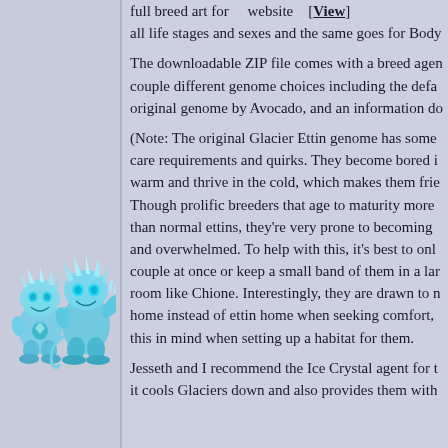full breed art for [website] [View] all life stages and sexes and the same goes for Body
The downloadable ZIP file comes with a breed agen couple different genome choices including the defa original genome by Avocado, and an information do
(Note: The original Glacier Ettin genome has some care requirements and quirks. They become bored i warm and thrive in the cold, which makes them frie Though prolific breeders that age to maturity more than normal ettins, they're very prone to becoming and overwhelmed. To help with this, it's best to onl couple at once or keep a small band of them in a lar room like Chione. Interestingly, they are drawn to r home instead of ettin home when seeking comfort, this in mind when setting up a habitat for them.
[Figure (illustration): Two blue/teal crystal-like creature characters (Glacier Ettins), one smaller on the left and one larger on the right, both appearing icy and whimsical.]
Jesseth and I recommend the Ice Crystal agent for t it cools Glaciers down and also provides them with